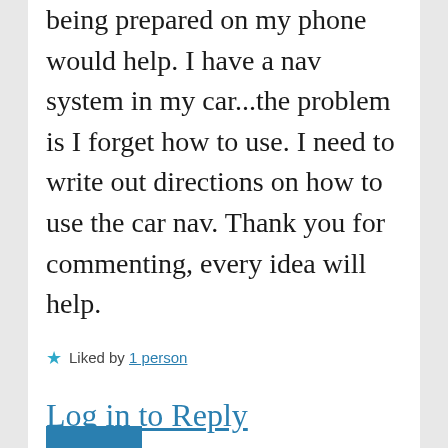being prepared on my phone would help. I have a nav system in my car...the problem is I forget how to use. I need to write out directions on how to use the car nav. Thank you for commenting, every idea will help.
★ Liked by 1 person
Log in to Reply